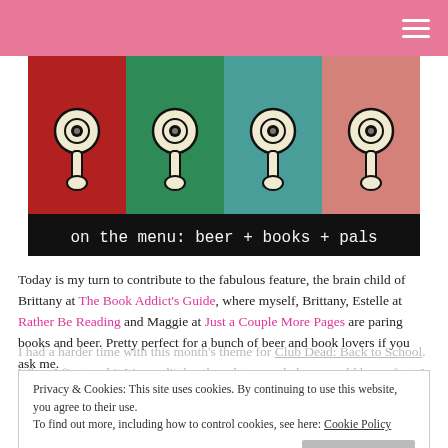[Figure (illustration): Artwork showing four repeating images of a tap/faucet handle in different background colors (red, green, teal, pink), with text below reading 'on the menu: beer + books + pals']
Today is my turn to contribute to the fabulous feature, the brain child of Brittany at The Book Addict's Guide, where myself, Brittany, Estelle at Rather Be Reading and Maggie at Just a Couple More Pages are paring books and beer. Pretty perfect for a bunch of beer and book lovers if you ask me.
Privacy & Cookies: This site uses cookies. By continuing to use this website, you agree to their use.
To find out more, including how to control cookies, see here: Cookie Policy
Close and accept
I had a harder time with this month's theme for Club Dead: Back to School. When I first read it I immeditaley thought an apple beer would be perfect. I personally have had a few that I love and